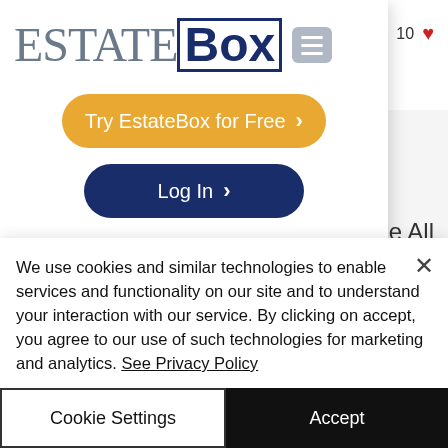[Figure (screenshot): EstateBox website screenshot showing navigation with logo, hamburger menu, dropdown with Try EstateBox for Free and Log In buttons, a photo strip of people at a table, and a cookie consent banner at the bottom.]
Try EstateBox for Free >
Log In >
See All
We use cookies and similar technologies to enable services and functionality on our site and to understand your interaction with our service. By clicking on accept, you agree to our use of such technologies for marketing and analytics. See Privacy Policy
Cookie Settings
Accept